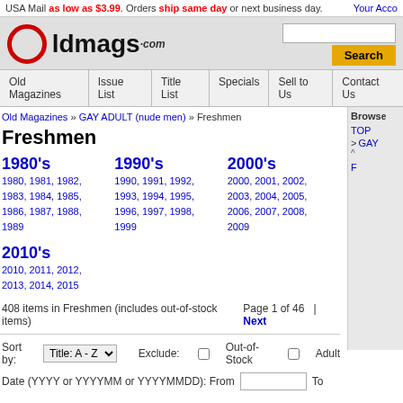USA Mail as low as $3.99. Orders ship same day or next business day. Your Acco...
[Figure (logo): OldMags.com logo in red and black]
[Figure (other): Search input box with Search button]
Old Magazines | Issue List | Title List | Specials | Sell to Us | Contact Us
Old Magazines » GAY ADULT (nude men) » Freshmen
Freshmen
1980's
1980, 1981, 1982, 1983, 1984, 1985, 1986, 1987, 1988, 1989
1990's
1990, 1991, 1992, 1993, 1994, 1995, 1996, 1997, 1998, 1999
2000's
2000, 2001, 2002, 2003, 2004, 2005, 2006, 2007, 2008, 2009
2010's
2010, 2011, 2012, 2013, 2014, 2015
408 items in Freshmen (includes out-of-stock items)  Page 1 of 46 | Next
Sort by: Title: A - Z   Exclude: Out-of-Stock Adult
Date (YYYY or YYYYMM or YYYYMMDD): From  To